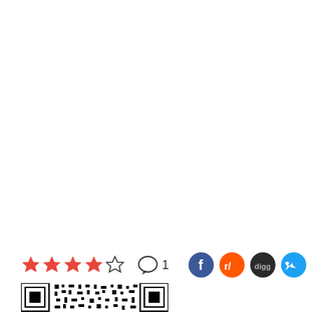[Figure (other): Rating stars (4 out of 5 filled red stars, 1 empty star outline), comment bubble icon with number 1, and 4 social sharing icons (Facebook blue, Reddit orange, Digg dark, Twitter light blue)]
[Figure (other): QR code at bottom of page]